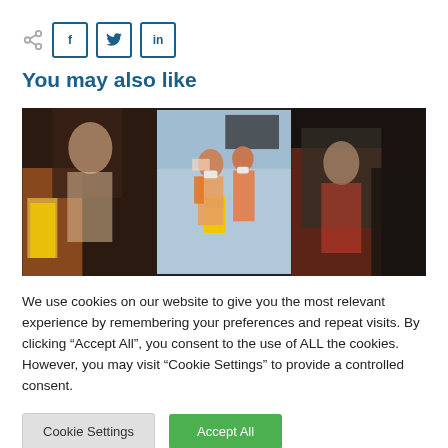[Figure (other): Share icons: share symbol, Facebook (f), Twitter bird, LinkedIn (in) buttons with blue borders]
You may also like
[Figure (photo): Three-panel image strip showing people dancing/celebrating in what appears to be a care home or community center. People wearing masks and orange/red outfits. A yellow wet floor sign is visible.]
We use cookies on our website to give you the most relevant experience by remembering your preferences and repeat visits. By clicking “Accept All”, you consent to the use of ALL the cookies. However, you may visit "Cookie Settings" to provide a controlled consent.
Cookie Settings
Accept All